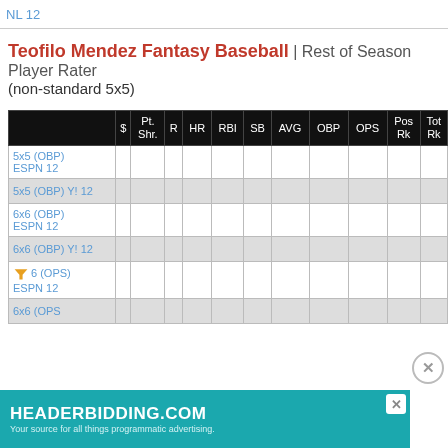NL 12
Teofilo Mendez Fantasy Baseball | Rest of Season Player Rater (non-standard 5x5)
|  | $ | Pt. Shr. | R | HR | RBI | SB | AVG | OBP | OPS | Pos Rk | Tot Rk |
| --- | --- | --- | --- | --- | --- | --- | --- | --- | --- | --- | --- |
| 5x5 (OBP) ESPN 12 |  |  |  |  |  |  |  |  |  |  |  |
| 5x5 (OBP) Y! 12 |  |  |  |  |  |  |  |  |  |  |  |
| 6x6 (OBP) ESPN 12 |  |  |  |  |  |  |  |  |  |  |  |
| 6x6 (OBP) Y! 12 |  |  |  |  |  |  |  |  |  |  |  |
| 6 (OPS) ESPN 12 |  |  |  |  |  |  |  |  |  |  |  |
| 6x6 (OPS) |  |  |  |  |  |  |  |  |  |  |  |
[Figure (other): HEADERBIDDING.COM advertisement banner — Your source for all things programmatic advertising.]